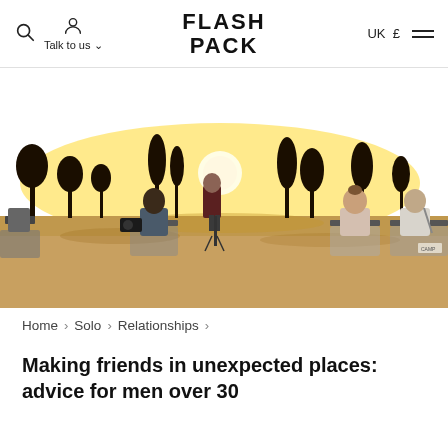Flash Pack | Talk to us | UK £
[Figure (photo): Group of people seated in camp chairs viewed from behind, watching a golden sunset over a flat African landscape with silhouetted trees and a large orange sun near the horizon.]
Home › Solo › Relationships ›
Making friends in unexpected places: advice for men over 30